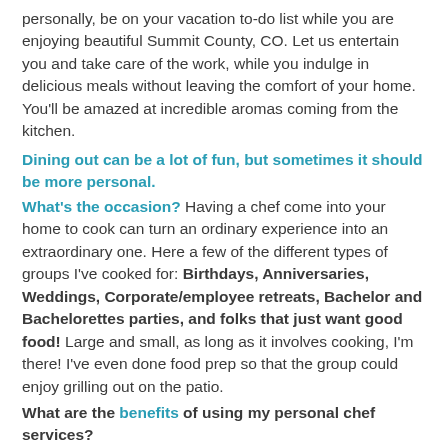personally, be on your vacation to-do list while you are enjoying beautiful Summit County, CO. Let us entertain you and take care of the work, while you indulge in delicious meals without leaving the comfort of your home. You'll be amazed at incredible aromas coming from the kitchen.
Dining out can be a lot of fun, but sometimes it should be more personal.
What's the occasion? Having a chef come into your home to cook can turn an ordinary experience into an extraordinary one. Here a few of the different types of groups I've cooked for: Birthdays, Anniversaries, Weddings, Corporate/employee retreats, Bachelor and Bachelorettes parties, and folks that just want good food! Large and small, as long as it involves cooking, I'm there! I've even done food prep so that the group could enjoy grilling out on the patio.
What are the benefits of using my personal chef services?
It depends on you! For me, I think any reason is a good reason to have a delicious professional meal cooked in your